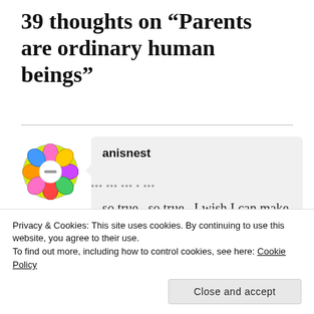39 thoughts on “Parents are ordinary human beings”
anisnest
so true.. so true.. I wish I can make Adi read this
Privacy & Cookies: This site uses cookies. By continuing to use this website, you agree to their use.
To find out more, including how to control cookies, see here: Cookie Policy
Close and accept